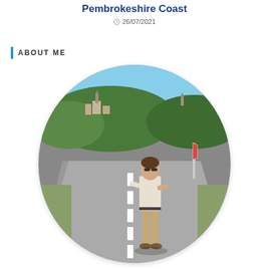Pembrokeshire Coast
26/07/2021
ABOUT ME
[Figure (photo): Oval-framed photo of a person standing on a road in a sunny rural landscape with trees and a village in the background. The person is wearing a white shirt, khaki trousers, and sunglasses.]